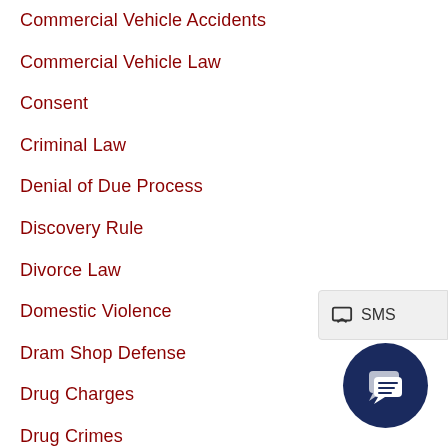Commercial Vehicle Accidents
Commercial Vehicle Law
Consent
Criminal Law
Denial of Due Process
Discovery Rule
Divorce Law
Domestic Violence
Dram Shop Defense
Drug Charges
Drug Crimes
DWI and DUI
DWI Law